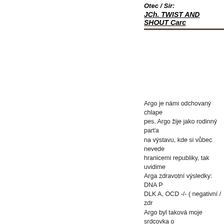Otec / Sir:
JCh. TWIST AND SHOUT Carc
Argo je námi odchovaný chlape pes. Argo žije jako rodinný parťa na výstavu, kde si vůbec nevede hranicemi republiky, tak uvidime Arga zdravotní výsledky: DNA P DLK A, OCD -/- ( negativní / zdr Argo byl taková moje srdcovka sourozece a vše o rodičich se p
Matka / Dam:
JCh. Kl.JCh. BISJ BISP BIGJ S